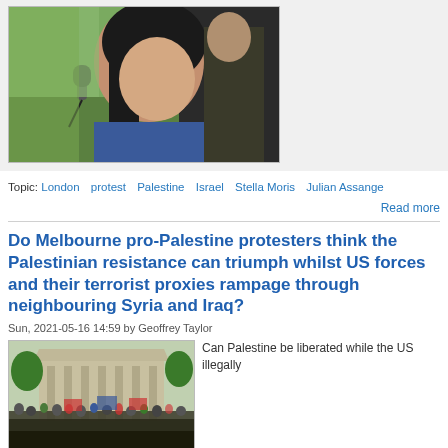[Figure (photo): Close-up photo of a young woman speaking into a microphone at a protest, with dark hair, side profile view]
Topic: London   protest   Palestine   Israel   Stella Moris   Julian Assange
Read more
Do Melbourne pro-Palestine protesters think the Palestinian resistance can triumph whilst US forces and their terrorist proxies rampage through neighbouring Syria and Iraq?
Sun, 2021-05-16 14:59 by Geoffrey Taylor
[Figure (photo): Wide shot of a large crowd of pro-Palestine protesters gathered in front of a large building in Melbourne]
Can Palestine be liberated while the US illegally